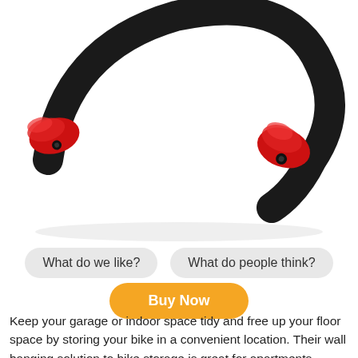[Figure (photo): Product photo of a wall-mount bike storage hook with red rubber grips and black metal frame, shown as a curved U-shaped bracket with two red pronged holders on each end, on white background.]
What do we like?
What do people think?
Buy Now
Keep your garage or indoor space tidy and free up your floor space by storing your bike in a convenient location. Their wall hanging solution to bike storage is great for apartments, homes, garages and sheds. Most bike types have a storage system. The bikes can hold up to 22 kilogram. Not suitable for bikes with wide handlebars (31 inches / 78 cm) or fat bikes. It is safe and secure to store your bike in a horizontal position. The wall mount is made from strong steel. The bike arm locking mechanism uses a reliable gear system. The